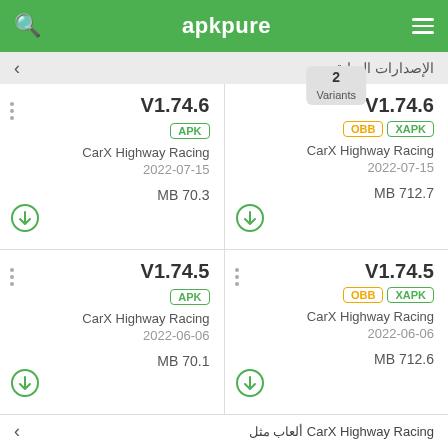apkpure
الإصدارات السابقة
V1.74.6 APK CarX Highway Racing 2022-07-15 MB 70.3
V1.74.6 OBB XAPK CarX Highway Racing 2022-07-15 MB 712.7
V1.74.5 APK CarX Highway Racing 2022-06-06 MB 70.1
V1.74.5 OBB XAPK CarX Highway Racing 2022-06-06 MB 712.6
ألعاب مثل CarX Highway Racing